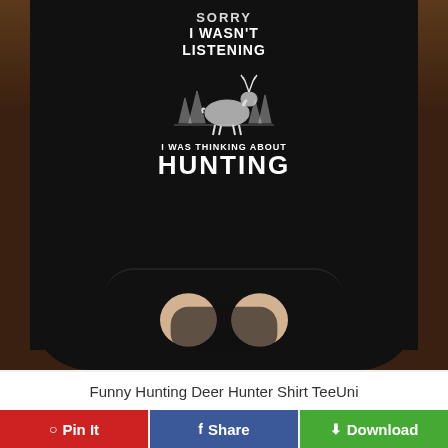[Figure (photo): A person wearing a black hoodie sweatshirt with a graphic print. The print shows a deer/buck with scenic background and text reading 'SORRY I WASN'T LISTENING I WAS THINKING ABOUT HUNTING'. The person has hands in the front pocket. Background is a wooden wall.]
Funny Hunting Deer Hunter Shirt TeeUni
Pin It
Share
Download